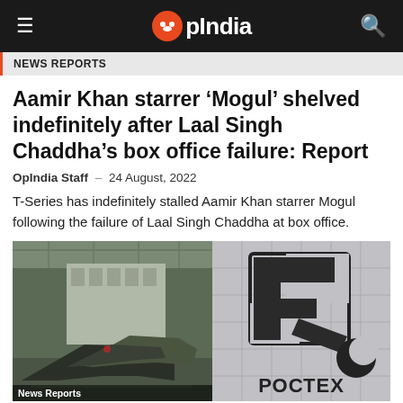OpIndia
News Reports
Aamir Khan starrer ‘Mogul’ shelved indefinitely after Laal Singh Chaddha’s box office failure: Report
OpIndia Staff – 24 August, 2022
T-Series has indefinitely stalled Aamir Khan starrer Mogul following the failure of Laal Singh Chaddha at box office.
[Figure (photo): Left: Aircraft manufacturing factory with military jets. Right: Rostec company logo on a building facade.]
News Reports